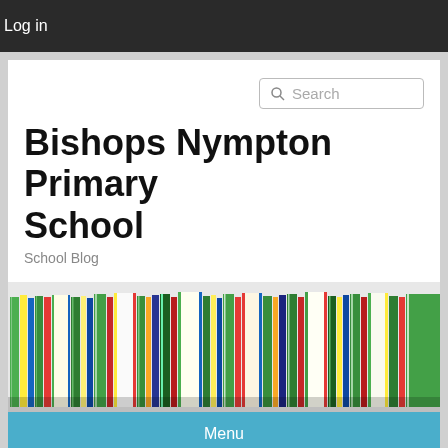Log in
Search
Bishops Nympton Primary School
School Blog
[Figure (photo): Row of colorful books standing upright, viewed from the side, with green, yellow, red, blue, and white spines visible.]
Menu
CATEGORY ARCHIVES: UNCATEGORIZED